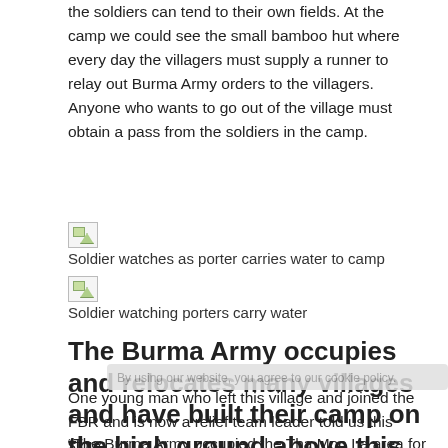the soldiers can tend to their own fields. At the camp we could see the small bamboo hut where every day the villagers must supply a runner to relay out Burma Army orders to the villagers. Anyone who wants to go out of the village must obtain a pass from the soldiers in the camp.
[Figure (photo): Broken/missing image placeholder]
Soldier watches as porter carries water to camp
[Figure (photo): Broken/missing image placeholder]
Soldier watching porters carry water
The Burma Army occupies and relocates many villages and have built their camp on the high ground above this village to control the villagers.
One young man who left this village and joined the FBR and is now a relief team leader told us this story:
“The Burma Army occupied the Tha Moo La area for first time when I